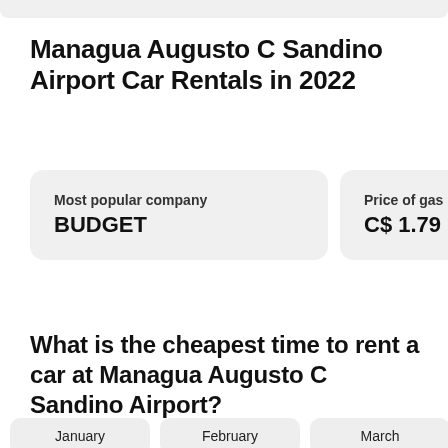Managua Augusto C Sandino Airport Car Rentals in 2022
Most popular company BUDGET
Price of gas pe C$ 1.79
What is the cheapest time to rent a car at Managua Augusto C Sandino Airport?
January  February  March